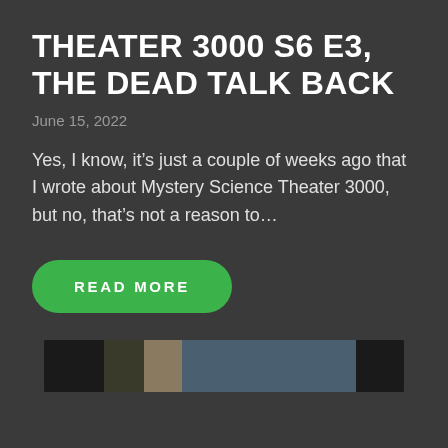THEATER 3000 S6 E3, THE DEAD TALK BACK
June 15, 2022
Yes, I know, it’s just a couple of weeks ago that I wrote about Mystery Science Theater 3000, but no, that’s not a reason to…
READ MORE
[Figure (photo): Partial thumbnail strip of a video or image, showing dark scene with figures]